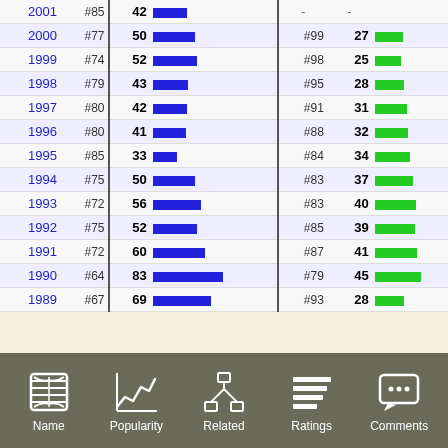| Year | Rank | Score | Bar |  | Rank2 | Score2 | Bar2 |
| --- | --- | --- | --- | --- | --- | --- | --- |
| 2001 | #85 | 42 | blue | - | - |  |  |
| 2000 | #77 | 50 | blue | #99 | 27 | green |  |
| 1999 | #74 | 52 | blue | #98 | 25 | green |  |
| 1998 | #79 | 43 | blue | #95 | 28 | green |  |
| 1997 | #80 | 42 | blue | #91 | 31 | green |  |
| 1996 | #80 | 41 | blue | #88 | 32 | green |  |
| 1995 | #85 | 33 | blue | #84 | 34 | green |  |
| 1994 | #75 | 50 | blue | #83 | 37 | green |  |
| 1993 | #72 | 56 | blue | #83 | 40 | green |  |
| 1992 | #75 | 52 | blue | #85 | 39 | green |  |
| 1991 | #72 | 60 | blue | #87 | 41 | green |  |
| 1990 | #64 | 83 | blue | #79 | 45 | green |  |
| 1989 | #67 | 69 | blue | #93 | 28 | green |  |
Name
Popularity
Related
Ratings
Comments